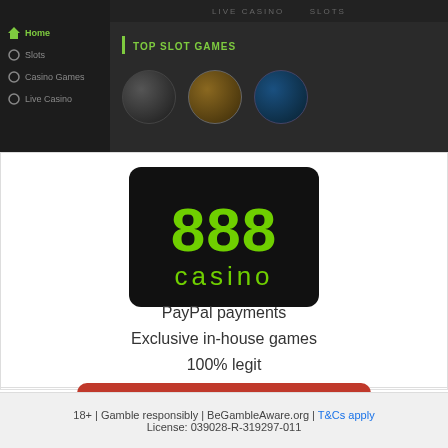[Figure (screenshot): 888 Casino website screenshot showing sidebar navigation with Home, Slots, Casino Games, Live Casino items and Top Slot Games banner with game thumbnails]
[Figure (logo): 888 casino logo — black rounded rectangle with green 888 and white 'casino' text]
PayPal payments
Exclusive in-house games
100% legit
[Figure (other): Red rounded button with white bold text VISIT CASINO]
18+ | Gamble responsibly | BeGambleAware.org | T&Cs apply
License: 039028-R-319297-011